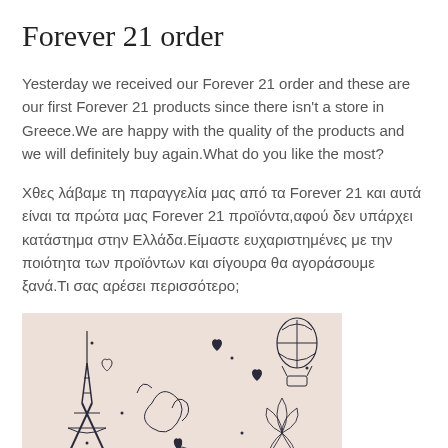Forever 21 order
Yesterday we received our Forever 21 order and these are our first Forever 21 products since there isn't a store in Greece.We are happy with the quality of the products and we will definitely buy again.What do you like the most?
Χθες λάβαμε τη παραγγελία μας από τα Forever 21 και αυτά είναι τα πρώτα μας Forever 21 προϊόντα,αφού δεν υπάρχει κατάστημα στην Ελλάδα.Είμαστε ευχαριστημένες με την ποιότητα των προϊόντων και σίγουρα θα αγοράσουμε ξανά.Τι σας αρέσει περισσότερο;
[Figure (photo): Close-up photo of fabric with Paris/Eiffel Tower themed black illustrations on a light pinkish-white background, showing Eiffel Tower, hot air balloon, flowers, hearts and decorative swirls.]